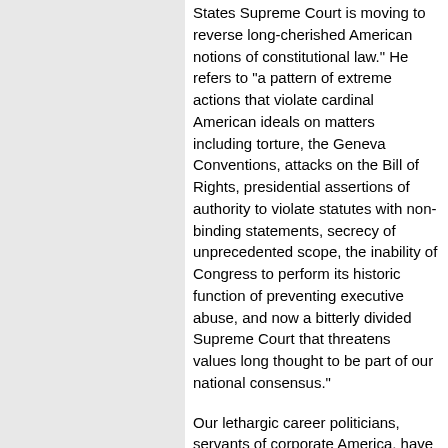States Supreme Court is moving to reverse long-cherished American notions of constitutional law." He refers to "a pattern of extreme actions that violate cardinal American ideals on matters including torture, the Geneva Conventions, attacks on the Bill of Rights, presidential assertions of authority to violate statutes with non-binding statements, secrecy of unprecedented scope, the inability of Congress to perform its historic function of preventing executive abuse, and now a bitterly divided Supreme Court that threatens values long thought to be part of our national consensus."
Our lethargic career politicians, servants of corporate America, have stood back and let things degenerate to this point, as the Bush administration has grabbed one handful of power after another, discarded every law and principle of accountability, equality, justice, anything that limits the power of them and the corporate elite they represent. Now it's up to where these people who blatantly put Bush in power in defiance of the whole concept of elections, are going to "legally" nullify everything the constitution has meant in practice over the last two centuries. Are we to stand and let that happen because procedurally they occupy their positions legitimately, even though the criminals who placed them in power were in